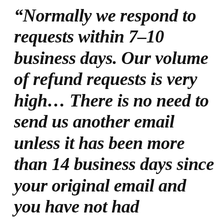“Normally we respond to requests within 7-10 business days. Our volume of refund requests is very high… There is no need to send us another email unless it has been more than 14 business days since your original email and you have not had